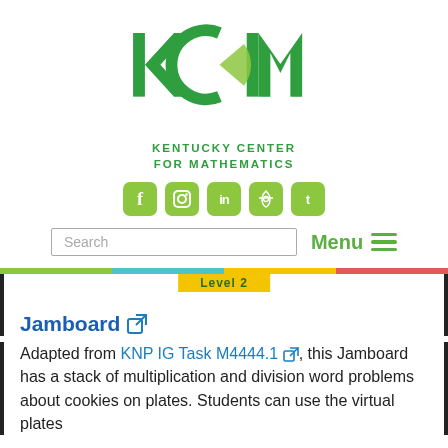[Figure (logo): KCM - Kentucky Center for Mathematics logo in green]
[Figure (infographic): Social media icons: Facebook, Instagram, LinkedIn, Pinterest, Twitter on yellow-green rounded square buttons]
Search  Menu
Jamboard
Adapted from KNP IG Task M4444.1, this Jamboard has a stack of multiplication and division word problems about cookies on plates. Students can use the virtual plates